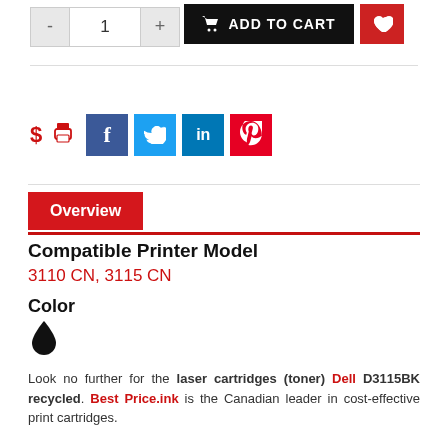[Figure (screenshot): Quantity selector with minus button, value 1, and plus button]
[Figure (screenshot): Add to Cart black button with cart icon, and red wishlist heart button]
[Figure (screenshot): Social sharing row: dollar icon, print icon, Facebook, Twitter, LinkedIn, Pinterest buttons]
Overview
Compatible Printer Model
3110 CN, 3115 CN
Color
[Figure (illustration): Black ink drop icon]
Look no further for the laser cartridges (toner) Dell D3115BK recycled. Best Price.ink is the Canadian leader in cost-effective print cartridges.